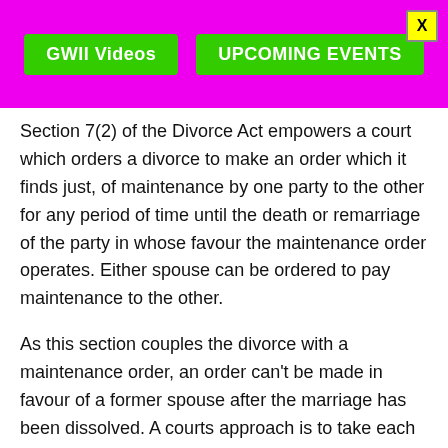GWII Videos   UPCOMING EVENTS
Section 7(2) of the Divorce Act empowers a court which orders a divorce to make an order which it finds just, of maintenance by one party to the other for any period of time until the death or remarriage of the party in whose favour the maintenance order operates. Either spouse can be ordered to pay maintenance to the other.
As this section couples the divorce with a maintenance order, an order can't be made in favour of a former spouse after the marriage has been dissolved. A courts approach is to take each case on its own merits and peculiar circumstances, and to decide what is fair.
Factors to take into account
Factors which the court must take into account are: